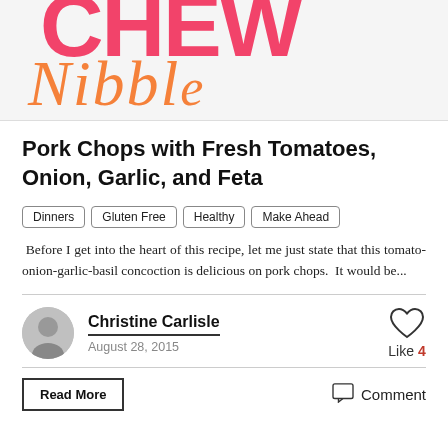[Figure (illustration): Blog header image showing 'CHEW' in large bold pink letters and 'Nibble' in orange italic script beneath it on a light background]
Pork Chops with Fresh Tomatoes, Onion, Garlic, and Feta
Dinners
Gluten Free
Healthy
Make Ahead
Before I get into the heart of this recipe, let me just state that this tomato-onion-garlic-basil concoction is delicious on pork chops.  It would be...
Christine Carlisle
August 28, 2015
Like 4
Read More
Comment